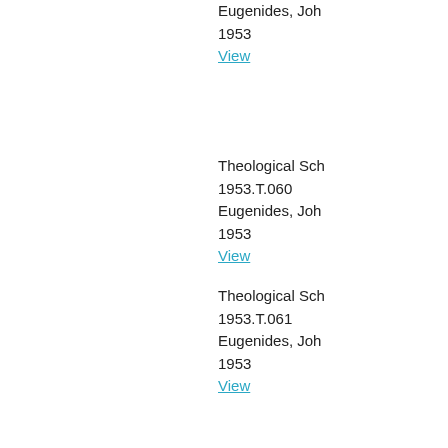Eugenides, Joh
1953
View
Theological Sch
1953.T.060
Eugenides, Joh
1953
View
Theological Sch
1953.T.061
Eugenides, Joh
1953
View
Theological Sch
1953.T.062
Eugenides, Joh
1953
View
New City Hall fo
1953.T.064
Eyster, Louis B.
1953